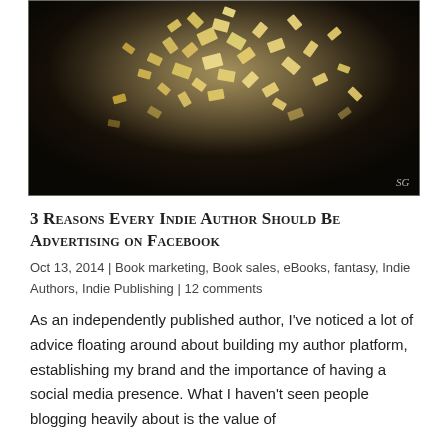[Figure (photo): Dark artistic photograph of papers or pages flying/scattered in the air against a dark background, with a small 'SG' watermark in the bottom right corner.]
3 Reasons Every Indie Author Should Be Advertising on Facebook
Oct 13, 2014 | Book marketing, Book sales, eBooks, fantasy, Indie Authors, Indie Publishing | 12 comments
As an independently published author, I've noticed a lot of advice floating around about building my author platform, establishing my brand and the importance of having a social media presence. What I haven't seen people blogging heavily about is the value of